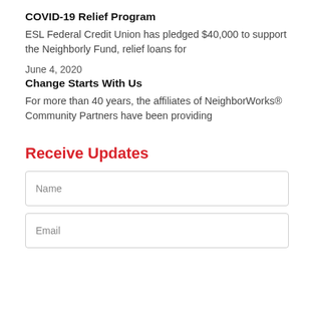COVID-19 Relief Program
ESL Federal Credit Union has pledged $40,000 to support the Neighborly Fund, relief loans for
June 4, 2020
Change Starts With Us
For more than 40 years, the affiliates of NeighborWorks® Community Partners have been providing
Receive Updates
Name
Email